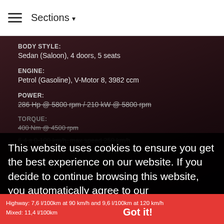≡  Sections ▾
BODY STYLE:
Sedan (Saloon), 4 doors, 5 seats
ENGINE:
Petrol (Gasoline), V-Motor 8, 3982 ccm
POWER:
286 Hp @ 5800 rpm / 210 kW @ 5800 rpm
TORQUE:
400 Nm @ 4500 rpm
6.4 s 0-100 km/h, max speed 250 km/h
This website uses cookies to ensure you get the best experience on our website. If you decide to continue browsing this website, you automatically agree to our
Privacy Policy
Urban: 16,9 l/100km
Highway: 7,6 l/100km at 90 km/h and 9,6 l/100km at 120 km/h
Mixed: 11,4 l/100km
Got it!
BASE PRICE:
42028 Euro